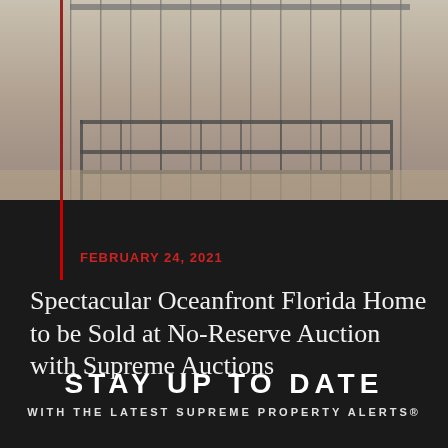[Figure (photo): Exterior view of a beachfront/oceanfront home with glass windows and metal railings, sandy background visible]
FEBRUARY 24, 2021
Spectacular Oceanfront Florida Home to be Sold at No-Reserve Auction with Supreme Auctions
STAY UP TO DATE
WITH THE LATEST SUPREME PROPERTY ALERTS®